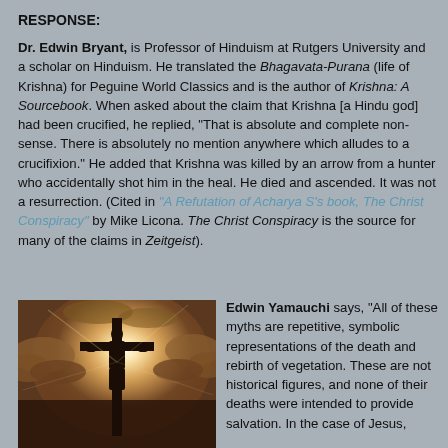RESPONSE:
Dr. Edwin Bryant, is Professor of Hinduism at Rutgers University and a scholar on Hinduism. He translated the Bhagavata-Purana (life of Krishna) for Peguine World Classics and is the author of Krishna: A Sourcebook. When asked about the claim that Krishna [a Hindu god] had been crucified, he replied, "That is absolute and complete non-sense. There is absolutely no mention anywhere which alludes to a crucifixion." He added that Krishna was killed by an arrow from a hunter who accidentally shot him in the heal. He died and ascended. It was not a resurrection. (Cited in "A Refutation of Acharya S's book, The Christ Conspiracy" by Mike Licona. The Christ Conspiracy is the source for many of the claims in Zeitgeist).
[Figure (photo): A silhouette of a cross against a bright sunlit cloudy sky, dramatic lighting]
Edwin Yamauchi says, "All of these myths are repetitive, symbolic representations of the death and rebirth of vegetation. These are not historical figures, and none of their deaths were intended to provide salvation. In the case of Jesus,